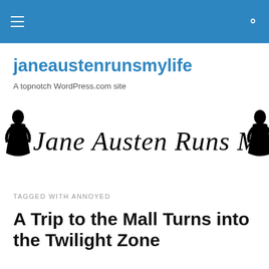janeaustenrunsmylife — hamburger menu and search icon
janeaustenrunsmylife
A topnotch WordPress.com site
[Figure (illustration): Decorative cursive script logo reading 'Jane Austen Runs My Life' with silhouettes of a woman in a Regency-era dress on each side]
TAGGED WITH ANNOYED
A Trip to the Mall Turns into the Twilight Zone